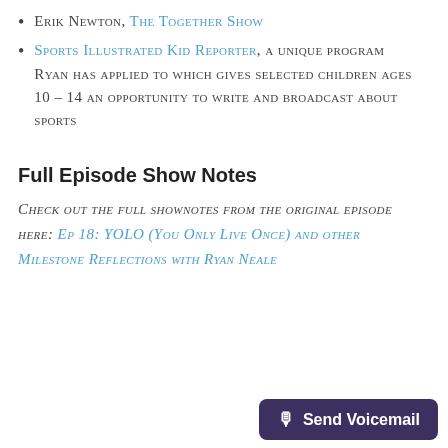Erik Newton, The Together Show
Sports Illustrated Kid Reporter, a unique program Ryan has applied to which gives selected children ages 10 – 14 an opportunity to write and broadcast about sports
Full Episode Show Notes
Check out the full shownotes from the original episode here: Ep 18: YOLO (You Only Live Once) and other Milestone Reflections with Ryan Neale